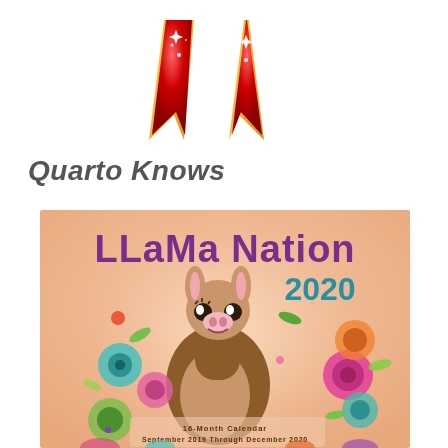[Figure (illustration): Two red ribbon award badges with gold trim, sparkling, on white background]
Quarto Knows
[Figure (illustration): Llama Nation 2020 calendar cover showing a cute illustrated llama surrounded by colorful flowers and leaves on a peach/pink background. Text reads 'LLaMa Nation 2020' in purple and teal. Bottom text reads '16-Month Calendar September 2019 Through December 2020'.]